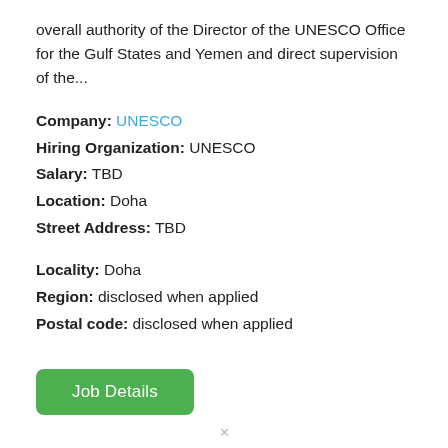overall authority of the Director of the UNESCO Office for the Gulf States and Yemen and direct supervision of the...
Company: UNESCO
Hiring Organization: UNESCO
Salary: TBD
Location: Doha
Street Address: TBD
Locality: Doha
Region: disclosed when applied
Postal code: disclosed when applied
Job Details